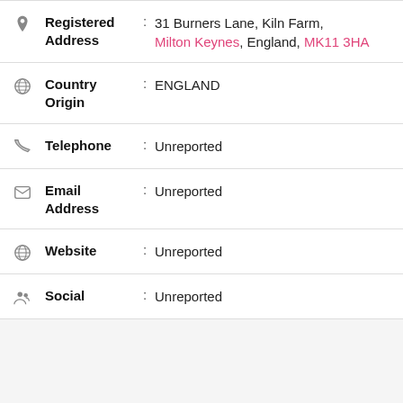| Icon | Field | : | Value |
| --- | --- | --- | --- |
| 📍 | Registered Address | : | 31 Burners Lane, Kiln Farm, Milton Keynes, England, MK11 3HA |
| 🌍 | Country Origin | : | ENGLAND |
| 📞 | Telephone | : | Unreported |
| ✉ | Email Address | : | Unreported |
| 🌐 | Website | : | Unreported |
| 👥 | Social | : | Unreported |